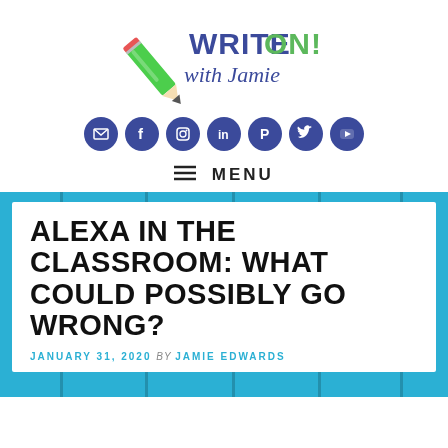[Figure (logo): Write On! with Jamie logo featuring a green pencil and colorful text]
[Figure (infographic): Row of 7 dark blue circular social media icons: email, Facebook, Instagram, LinkedIn, Pinterest, Twitter, YouTube]
≡ MENU
ALEXA IN THE CLASSROOM: WHAT COULD POSSIBLY GO WRONG?
JANUARY 31, 2020 By JAMIE EDWARDS